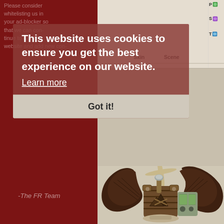Please consider whitelisting us in your ad-blocker so that we can continue to run this website and add new con-
This website uses cookies to ensure you get the best experience on our website.
Learn more
Got it!
-The FR Team
Skin
Scene
[Figure (screenshot): Steampunk-themed dragon character illustration with large brown wings, mechanical barrel/tank body with mountain insignia, gears and mechanical parts visible on the right side, set against a beige/cream background game interface]